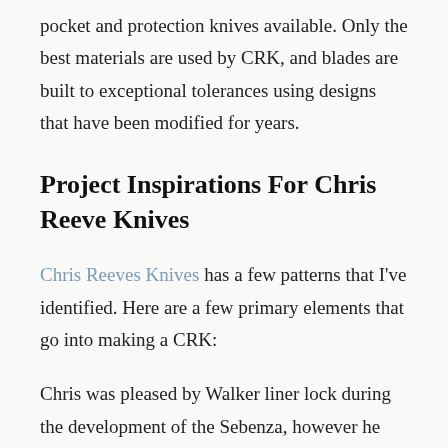pocket and protection knives available. Only the best materials are used by CRK, and blades are built to exceptional tolerances using designs that have been modified for years.
Project Inspirations For Chris Reeve Knives
Chris Reeves Knives has a few patterns that I've identified. Here are a few primary elements that go into making a CRK:
Chris was pleased by Walker liner lock during the development of the Sebenza, however he wanted to build on the design. The frame lock, also known as the Reeve Integral Lock, was